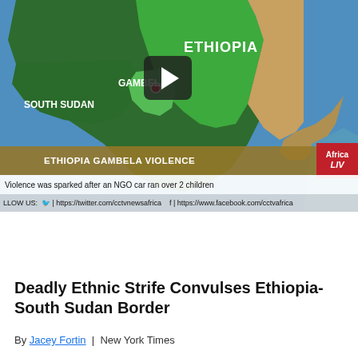[Figure (screenshot): News broadcast screenshot showing a satellite map of the Ethiopia-South Sudan border region with Gambela labeled. A play button overlay is visible. Lower thirds show 'ETHIOPIA GAMBELA VIOLENCE' in yellow/green bar, 'Africa LIVE' in red badge, subtitle 'Violence was sparked after an NGO car ran over 2 children', and social media follow bar with Twitter and Facebook links.]
Deadly Ethnic Strife Convulses Ethiopia-South Sudan Border
By Jacey Fortin | New York Times